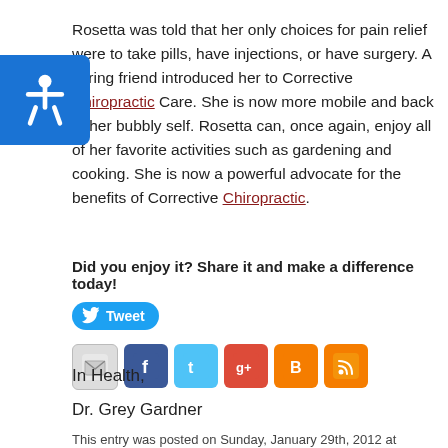Rosetta was told that her only choices for pain relief were to take pills, have injections, or have surgery. A caring friend introduced her to Corrective Chiropractic Care. She is now more mobile and back to her bubbly self. Rosetta can, once again, enjoy all of her favorite activities such as gardening and cooking. She is now a powerful advocate for the benefits of Corrective Chiropractic.
Did you enjoy it? Share it and make a difference today!
[Figure (infographic): Social sharing buttons: Tweet (Twitter), Email, Facebook, Twitter, Google+, Blogger, RSS feed icons]
In Health,
Dr. Grey Gardner
This entry was posted on Sunday, January 29th, 2012 at